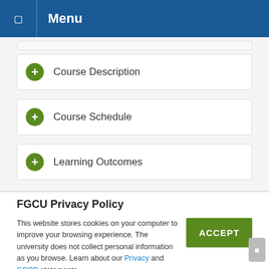Menu
Course Description
Course Schedule
Learning Outcomes
FGCU Privacy Policy
This website stores cookies on your computer to improve your browsing experience. The university does not collect personal information as you browse. Learn about our Privacy and GDPR statements.